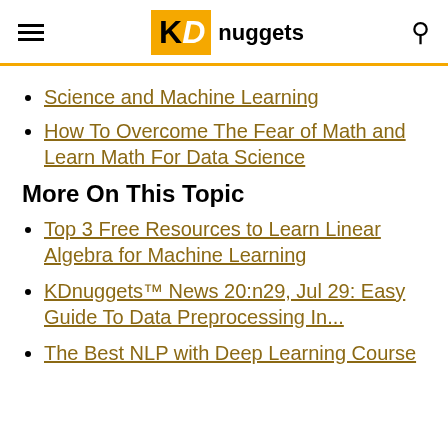KDnuggets
Science and Machine Learning
How To Overcome The Fear of Math and Learn Math For Data Science
More On This Topic
Top 3 Free Resources to Learn Linear Algebra for Machine Learning
KDnuggets™ News 20:n29, Jul 29: Easy Guide To Data Preprocessing In...
The Best NLP with Deep Learning Course